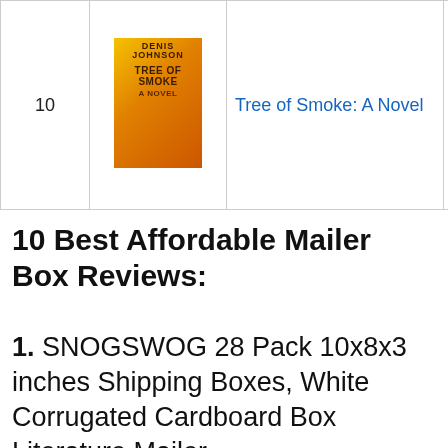| # | Image | Title | Score |  |
| --- | --- | --- | --- | --- |
| 10 | [book cover] | Tree of Smoke: A Novel | 8.90 |  |
10 Best Affordable Mailer Box Reviews:
1. SNOGSWOG 28 Pack 10x8x3 inches Shipping Boxes, White Corrugated Cardboard Box Literature Mailer